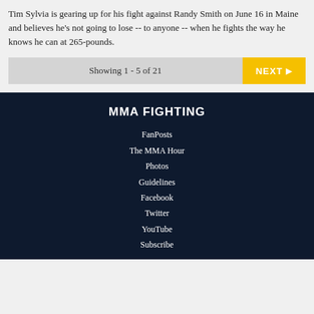Tim Sylvia is gearing up for his fight against Randy Smith on June 16 in Maine and believes he's not going to lose -- to anyone -- when he fights the way he knows he can at 265-pounds.
Showing 1 - 5 of 21
MMA FIGHTING
FanPosts
The MMA Hour
Photos
Guidelines
Facebook
Twitter
YouTube
Subscribe